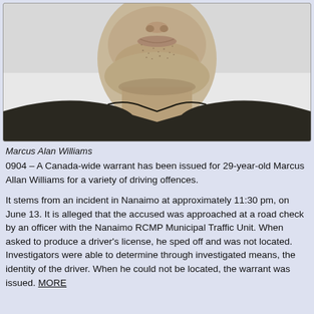[Figure (photo): Close-up photo of a man's lower face and neck, wearing a dark hoodie, against a light background. The image is cropped to show chin, neck, and collar area only.]
Marcus Alan Williams
0904 – A Canada-wide warrant has been issued for 29-year-old Marcus Allan Williams for a variety of driving offences.
It stems from an incident in Nanaimo at approximately 11:30 pm, on June 13. It is alleged that the accused was approached at a road check by an officer with the Nanaimo RCMP Municipal Traffic Unit. When asked to produce a driver's license, he sped off and was not located. Investigators were able to determine through investigated means, the identity of the driver. When he could not be located, the warrant was issued. MORE